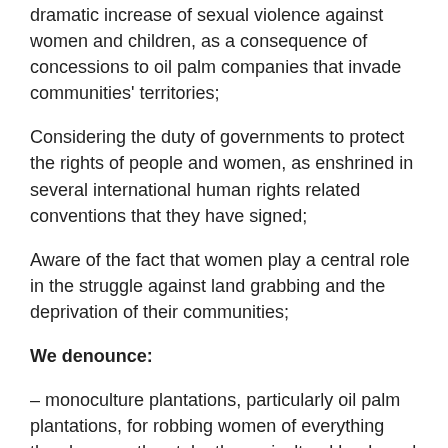dramatic increase of sexual violence against women and children, as a consequence of concessions to oil palm companies that invade communities' territories;
Considering the duty of governments to protect the rights of people and women, as enshrined in several international human rights related conventions that they have signed;
Aware of the fact that women play a central role in the struggle against land grabbing and the deprivation of their communities;
We denounce:
– monoculture plantations, particularly oil palm plantations, for robbing women of everything they have as they take the agricultural lands and forests